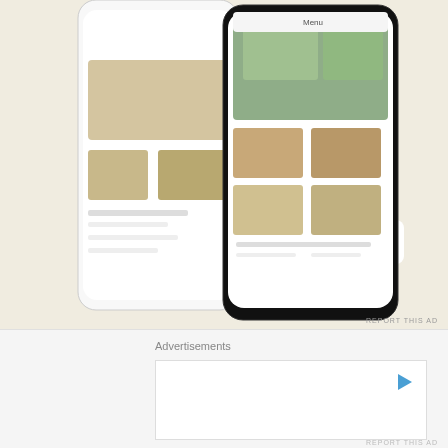[Figure (screenshot): Advertisement banner showing 'Explore options' green button, WordPress logo, and a food/restaurant app mockup on phone screens with menu images]
REPORT THIS AD
Hub1 Hubble says:
August 10, 2020 at 14:39
We have a small room between the outer doors and inner doors at the entrance. It is set up for Adoration and was used for that purpose until Father moved to the sanctuary for a more formal display of the precious host. There is, also, safety, break-ins, satanic cults, and
Advertisements
[Figure (screenshot): Bottom advertisement banner with play icon, white rectangle area]
REPORT THIS AD